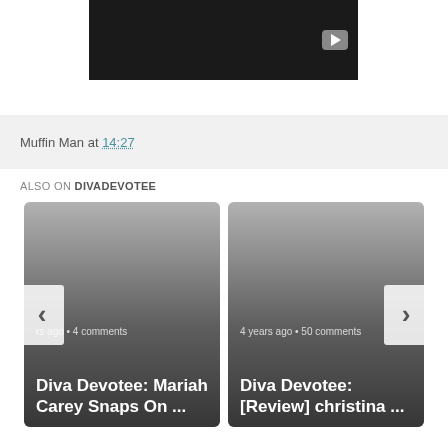[Figure (screenshot): Dark video thumbnail with a gray play button in the top-right area]
Muffin Man at 14:27
ALSO ON DIVADEVOTEE
[Figure (screenshot): Card: years ago • 4 comments | Diva Devotee: Mariah Carey Snaps On ...]
[Figure (screenshot): Card: 4 years ago • 50 comments | Diva Devotee: [Review] christina ...]